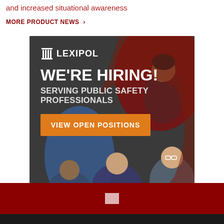and increased situational awareness
MORE PRODUCT NEWS ›
[Figure (illustration): Lexipol recruitment advertisement with dark background showing illustrated diverse public safety professionals. Text: LEXIPOL logo, WE'RE HIRING!, SERVING PUBLIC SAFETY PROFESSIONALS, orange button: VIEW OPEN POSITIONS]
Footer with dark red bar and dark bottom strip with small logo